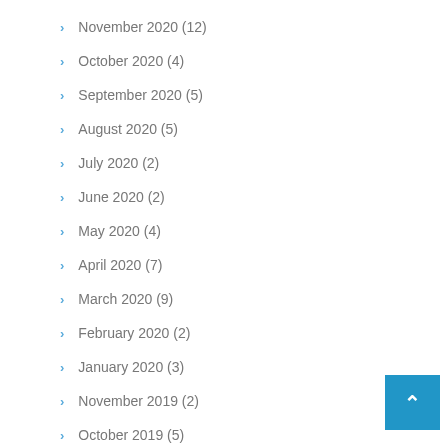November 2020 (12)
October 2020 (4)
September 2020 (5)
August 2020 (5)
July 2020 (2)
June 2020 (2)
May 2020 (4)
April 2020 (7)
March 2020 (9)
February 2020 (2)
January 2020 (3)
November 2019 (2)
October 2019 (5)